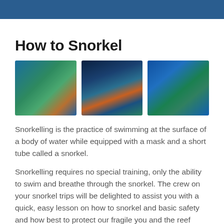How to Snorkel
[Figure (photo): Three underwater snorkelling photos side by side: a sea turtle swimming over coral, a diver swimming through light beams, and a snorkeller above a coral reef.]
Snorkelling is the practice of swimming at the surface of a body of water while equipped with a mask and a short tube called a snorkel.
Snorkelling requires no special training, only the ability to swim and breathe through the snorkel. The crew on your snorkel trips will be delighted to assist you with a quick, easy lesson on how to snorkel and basic safety and how best to protect our fragile you and the reef where you are snorkelling – even if you can't swim, the boat crew can help you to learn